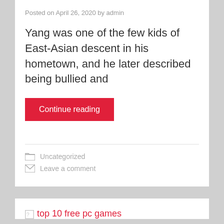Posted on April 26, 2020 by admin
Yang was one of the few kids of East-Asian descent in his hometown, and he later described being bullied and
Continue reading
Uncategorized
Leave a comment
[Figure (photo): Broken image placeholder with alt text 'top 10 free pc games']